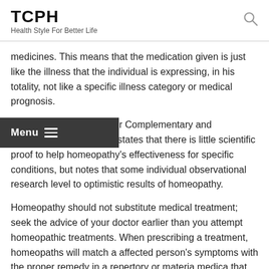TCPH
Health Style For Better Life
medicines. This means that the medication given is just like the illness that the individual is expressing, in his totality, not like a specific illness category or medical prognosis.
The Nationwide Middle for Complementary and Alternative Medicine states that there is little scientific proof to help homeopathy's effectiveness for specific conditions, but notes that some individual observational research level to optimistic results of homeopathy.
Homeopathy should not substitute medical treatment; seek the advice of your doctor earlier than you attempt homeopathic treatments. When prescribing a treatment, homeopaths will match a affected person's symptoms with the proper remedy in a repertory or materia medica that has been compiled throughout the historical past of homeopathy.